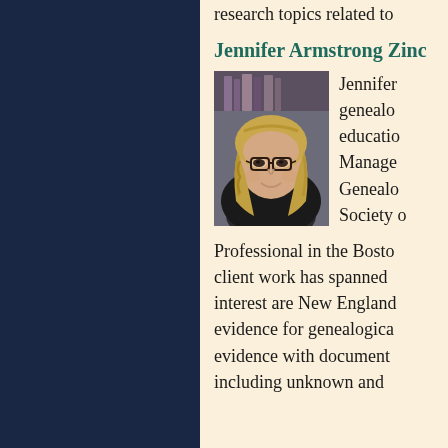research topics related to
Jennifer Armstrong Zinc
[Figure (photo): Headshot of Jennifer Armstrong Zinc, a woman with blonde wavy hair and glasses, wearing a dark jacket]
Jennifer genealo educatio Manage Genealo Society o
Professional in the Bosto client work has spanned interest are New England evidence for genealogica evidence with document including unknown and